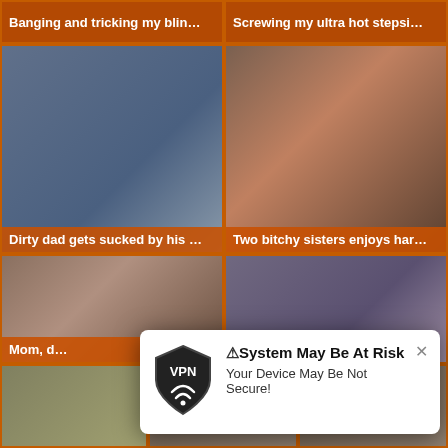[Figure (screenshot): Video thumbnail grid - adult content website with video thumbnails and titles]
Banging and tricking my blin…
Screwing my ultra hot stepsi…
Dirty dad gets sucked by his …
Two bitchy sisters enjoys har…
Mom, d…
[Figure (infographic): VPN popup notification: System May Be At Risk - Your Device May Be Not Secure!]